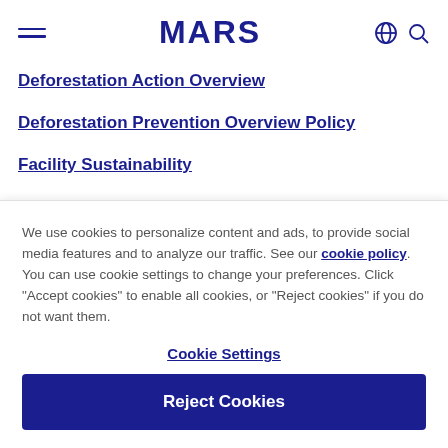MARS
Deforestation Action Overview
Deforestation Prevention Overview Policy
Facility Sustainability
We use cookies to personalize content and ads, to provide social media features and to analyze our traffic. See our cookie policy. You can use cookie settings to change your preferences. Click "Accept cookies" to enable all cookies, or "Reject cookies" if you do not want them.
Cookie Settings
Reject Cookies